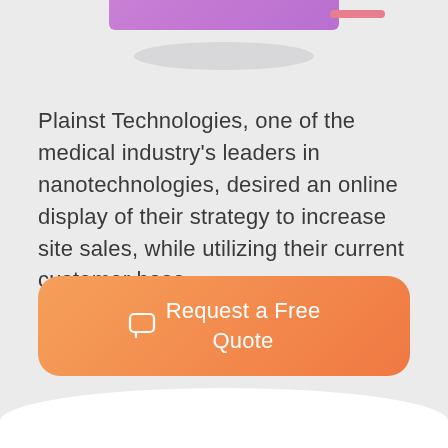[Figure (illustration): Purple/pink rectangular bar at top center, pink dash accent top right, gray oval shadow below bar]
Plainst Technologies, one of the medical industry's leaders in nanotechnologies, desired an online display of their strategy to increase site sales, while utilizing their current customer base.
[Figure (infographic): Orange gradient rounded rectangle button with chat bubble icon and text 'Request a Free Quote']